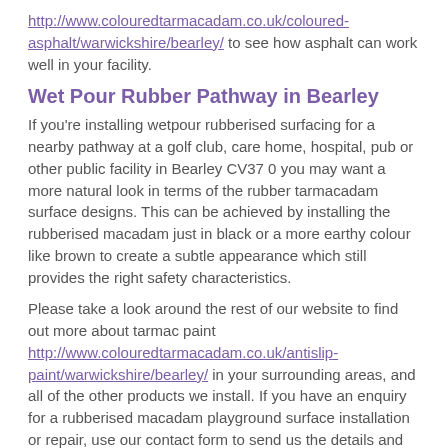http://www.colouredtarmacadam.co.uk/coloured-asphalt/warwickshire/bearley/ to see how asphalt can work well in your facility.
Wet Pour Rubber Pathway in Bearley
If you're installing wetpour rubberised surfacing for a nearby pathway at a golf club, care home, hospital, pub or other public facility in Bearley CV37 0 you may want a more natural look in terms of the rubber tarmacadam surface designs. This can be achieved by installing the rubberised macadam just in black or a more earthy colour like brown to create a subtle appearance which still provides the right safety characteristics.
Please take a look around the rest of our website to find out more about tarmac paint http://www.colouredtarmacadam.co.uk/antislip-paint/warwickshire/bearley/ in your surrounding areas, and all of the other products we install. If you have an enquiry for a rubberised macadam playground surface installation or repair, use our contact form to send us the details and we'll give you a price for the works.